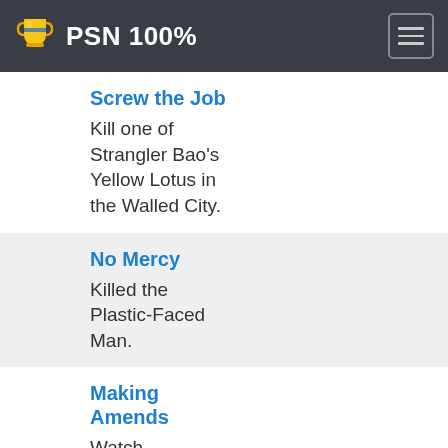PSN 100%
Screw the Job
Kill one of Strangler Bao's Yellow Lotus in the Walled City.
No Mercy
Killed the Plastic-Faced Man.
Making Amends
Watch Raymond Black sacrifice